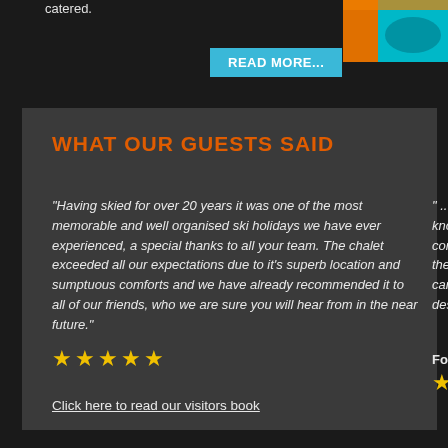catered.
READ MORE...
[Figure (photo): Partial photo visible in top right corner, showing orange and teal/cyan colors]
WHAT OUR GUESTS SAID
"Having skied for over 20 years it was one of the most memorable and well organised ski holidays we have ever experienced, a special thanks to all your team. The chalet exceeded all our expectations due to it's superb location and sumptuous comforts and we have already recommended it to all of our friends, who we are sure you will hear from in the near future."
" ...for 20 years H... know all the best... come from food o... the honey and m... cannellini beans ... dessert Mont Bla...
Food and Travel
Click here to read our visitors book